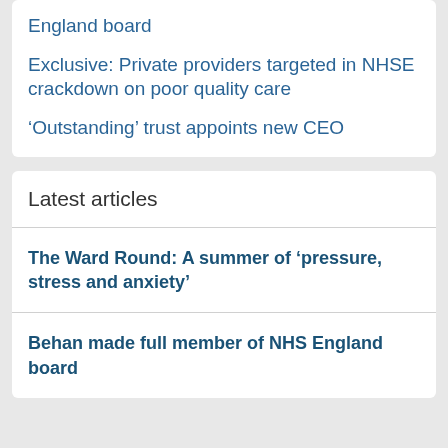England board
Exclusive: Private providers targeted in NHSE crackdown on poor quality care
‘Outstanding’ trust appoints new CEO
Latest articles
The Ward Round: A summer of ‘pressure, stress and anxiety’
Behan made full member of NHS England board